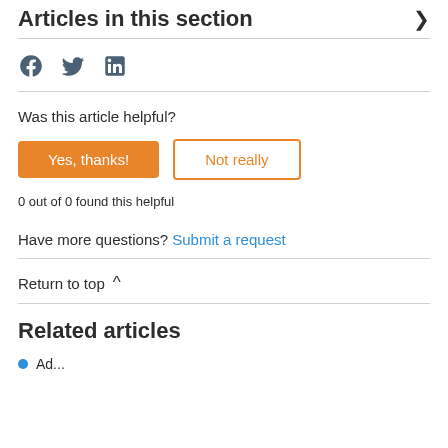Articles in this section
[Figure (illustration): Social media share icons: Facebook, Twitter, LinkedIn]
Was this article helpful?
Yes, thanks! | Not really
0 out of 0 found this helpful
Have more questions? Submit a request
Return to top ^
Related articles
...